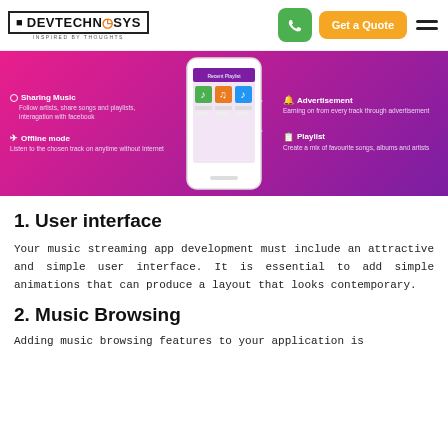[Figure (logo): DevTechnosys logo - text logo with monitor icon and tagline 'Inspired by Thoughts']
[Figure (infographic): Music streaming app features banner with purple/pink gradient background, phone mockup in center, features: Sharing Music, Offline mode, Advertisement, Playlist]
1. User interface
Your music streaming app development must include an attractive and simple user interface. It is essential to add simple animations that can produce a layout that looks contemporary.
2. Music Browsing
Adding music browsing features to your application is